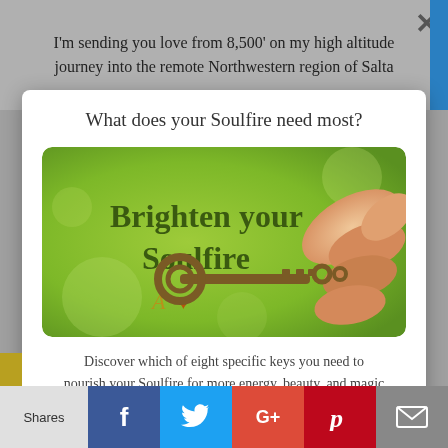I'm sending you love from 8,500' on my high altitude journey into the remote Northwestern region of Salta
What does your Soulfire need most?
[Figure (illustration): Green background image with text 'Brighten your Soulfire' in dark olive/green font, a decorative bronze skeleton key held by fingers on the right, and a small gold A-heart logo on the left.]
Discover which of eight specific keys you need to nourish your Soulfire for more energy, beauty, and magic
[Figure (logo): Decorative gold cursive A with a gold heart — Soulfire brand logo]
Shares
Shares  f  [Twitter bird]  G+  [Pinterest P]  [Mail icon]